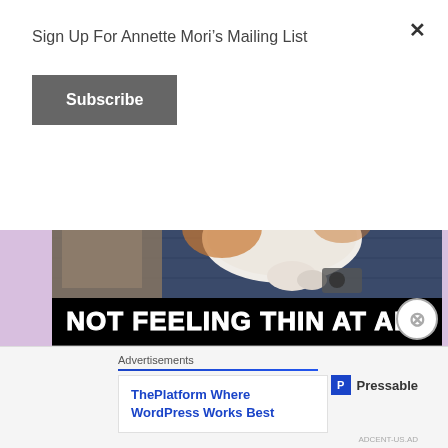Sign Up For Annette Mori’s Mailing List
Subscribe
[Figure (photo): Meme image showing a cat with text overlay reading 'NOT FEELING THIN AT ALL' in white bold Impact font on black background. Upper portion shows a cat (white and orange/brown) lying on dark blue denim fabric.]
Well…surprise, surprise. Guess what? There a shit-ton of conspiracy theories out there about how the Girl Scouts are promoting lesbianism and the radical feminist agenda…you know corrupting all those sweet young girls. Didn’t you know the Girl Scouts are the
Advertisements
ThePlatform Where WordPress Works Best
Pressable